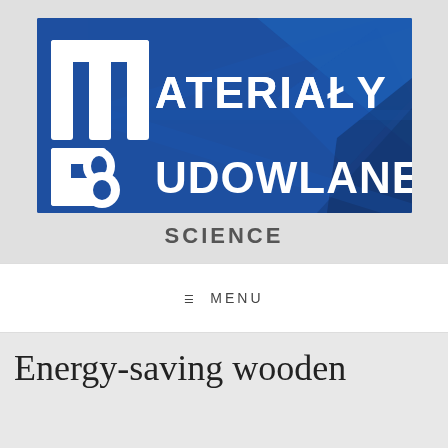[Figure (logo): Materiały Budowlane logo — white stylized M and B letters on a blue background with geometric diamond shapes]
SCIENCE
☰ MENU
Energy-saving wooden